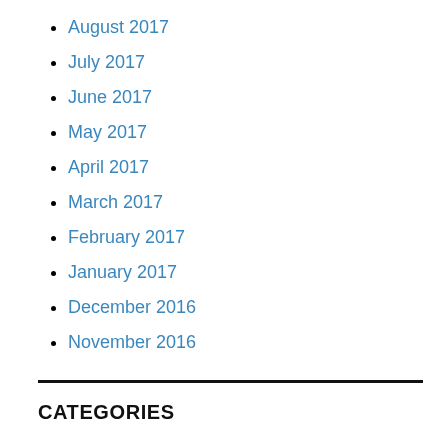August 2017
July 2017
June 2017
May 2017
April 2017
March 2017
February 2017
January 2017
December 2016
November 2016
CATEGORIES
Adventurers